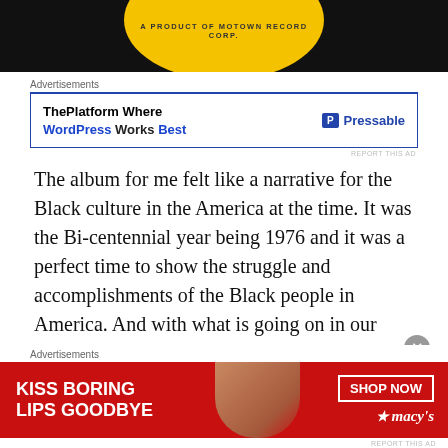[Figure (photo): Top portion of a Motown record vinyl label, yellow background with text 'A PRODUCT OF MOTOWN RECORD CORP.' visible in arc at top, dark background surrounds]
Advertisements
[Figure (screenshot): Advertisement banner: 'ThePlatform Where WordPress Works Best' with Pressable logo on right]
The album for me felt like a narrative for the Black culture in the America at the time. It was the Bi-centennial year being 1976 and it was a perfect time to show the struggle and accomplishments of the Black people in America. And with what is going on in our country right this very minute, this album is so relevant and impactful even today. Despite all the strides that have been made since 1976, at the same time it feels we
Advertisements
[Figure (photo): Macy's advertisement banner: red background, woman's face with red lipstick, text 'KISS BORING LIPS GOODBYE', 'SHOP NOW' button, Macy's star logo]